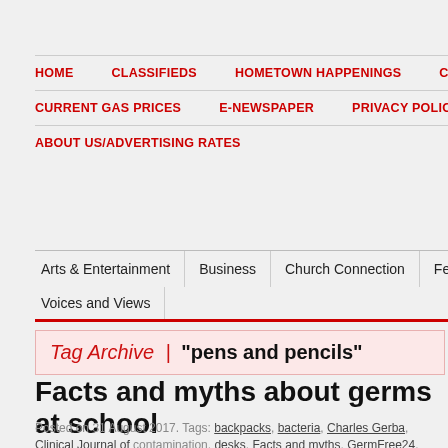HOME | CLASSIFIEDS | HOMETOWN HAPPENINGS | COMMENT GU... | CURRENT GAS PRICES | E-NEWSPAPER | PRIVACY POLICY | LEGA... | ABOUT US/ADVERTISING RATES
Arts & Entertainment | Business | Church Connection | Feature... | Voices and Views
Tag Archive | "pens and pencils"
Facts and myths about germs at school
Posted on 31 August 2017. Tags: backpacks, bacteria, Charles Gerba, Clinical Journal of contamination, desks, Facts and myths, GermFree24, germs, Hand Sanitizer, headphone... lockers, Mouth, pencil sharpener, pens and pencils, school, Sharing, sports equipment, U...